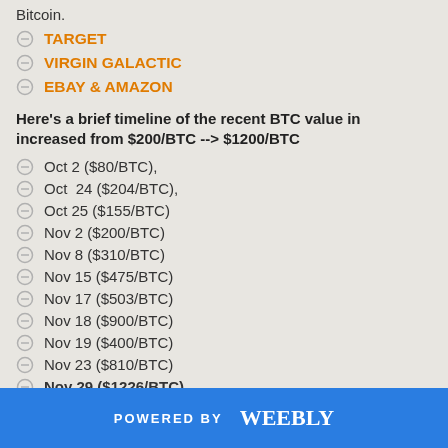Bitcoin.
TARGET
VIRGIN GALACTIC
EBAY & AMAZON
Here's a brief timeline of the recent BTC value increased from $200/BTC --> $1200/BTC
Oct 2 ($80/BTC),
Oct  24 ($204/BTC),
Oct 25 ($155/BTC)
Nov 2 ($200/BTC)
Nov 8 ($310/BTC)
Nov 15 ($475/BTC)
Nov 17 ($503/BTC)
Nov 18 ($900/BTC)
Nov 19 ($400/BTC)
Nov 23 ($810/BTC)
Nov 29 ($1226/BTC)
POWERED BY weebly